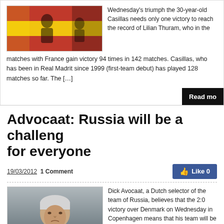[Figure (photo): Sports photo, Spain national team flag colors visible]
Wednesday's triumph the 30-year-old Casillas needs only one victory to reach the record of Lilian Thuram, who in the matches with France gain victory 94 times in 142 matches. Casillas, who has been in Real Madrit since 1999 (first-team debut) has played 128 matches so far. The […]
Advocaat: Russia will be a challenge for everyone
19/03/2012  1 Comment
[Figure (photo): Dick Advocaat, Dutch manager of Russia national football team, gray-haired man in dark jacket]
Dick Avocaat, a Dutch selector of the team of Russia, believes that the 2:0 victory over Denmark on Wednesday in Copenhagen means that his team will be very "dangerous" for each participant in the European Championships. The Russian team will be group rivals for Polish football players. The victory over...